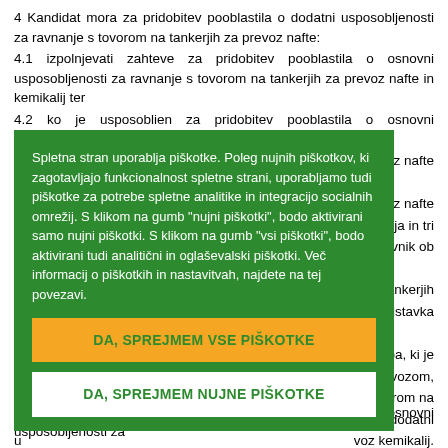4 Kandidat mora za pridobitev pooblastila o dodatni usposobljenosti za ravnanje s tovorom na tankerjih za prevoz nafte:
4.1 izpolnjevati zahteve za pridobitev pooblastila o osnovni usposobljenosti za ravnanje s tovorom na tankerjih za prevoz nafte in kemikalij ter
4.2 ko je usposoblien za pridobitev pooblastila o osnovni usposobljenosti za r... dij, imeti:
[Figure (other): Cookie consent overlay with green background. Text: 'Spletna stran uporablja piškotke. Poleg nujnih piškotkov, ki zagotavljajo funkcionalnost spletne strani, uporabljamo tudi piškotke za potrebe spletne analitike in integracijo socialnih omrežij. S klikom na gumb "nujni piškotki", bodo aktivirani samo nujni piškotki. S klikom na gumb "vsi piškotki", bodo aktivirani tudi analitični in oglaševalski piškotki. Več informacij o piškotkih in nastavitvah, najdete na tej povezavi.' Two buttons: orange 'DA, SPREJMEM VSE PIŠKOTKE' and white 'DA, SPREJMEM NUJNE PIŠKOTKE'.]
6.1 izpolnjevati zahteve za pridobitev pooblastila o osnovni usposobljenosti za